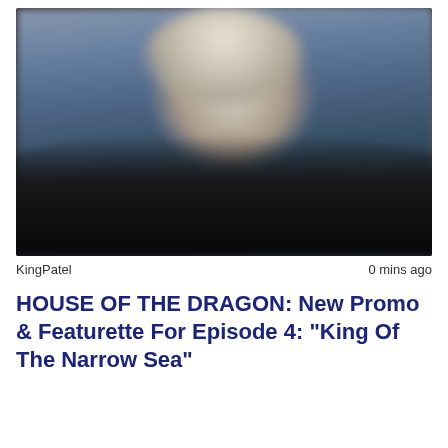[Figure (photo): Blurred close-up photo of a person with platinum/white hair and dark clothing against a blurred grey-blue wall background]
KingPatel	0 mins ago
HOUSE OF THE DRAGON: New Promo & Featurette For Episode 4: "King Of The Narrow Sea"